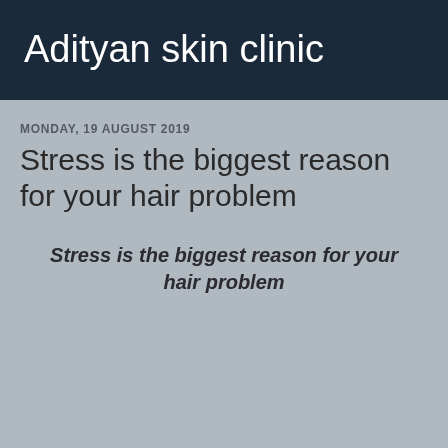Adityan skin clinic
MONDAY, 19 AUGUST 2019
Stress is the biggest reason for your hair problem
Stress is the biggest reason for your hair problem